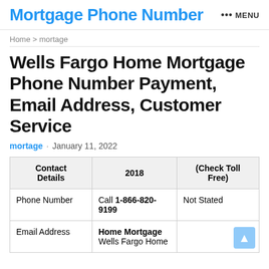Mortgage Phone Number  ··· MENU
Home > mortage
Wells Fargo Home Mortgage Phone Number Payment, Email Address, Customer Service
mortage · January 11, 2022
| Contact Details | 2018 | (Check Toll Free) |
| --- | --- | --- |
| Phone Number | Call 1-866-820-9199 | Not Stated |
| Email Address | Home Mortgage
Wells Fargo Home |  |